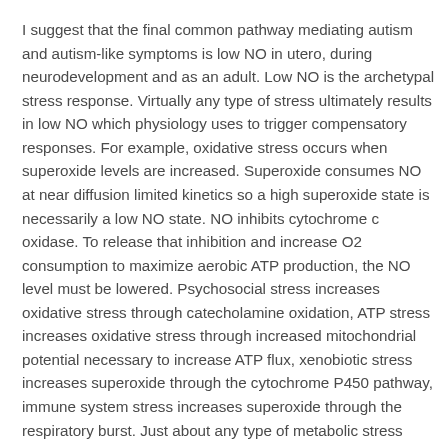I suggest that the final common pathway mediating autism and autism-like symptoms is low NO in utero, during neurodevelopment and as an adult. Low NO is the archetypal stress response. Virtually any type of stress ultimately results in low NO which physiology uses to trigger compensatory responses. For example, oxidative stress occurs when superoxide levels are increased. Superoxide consumes NO at near diffusion limited kinetics so a high superoxide state is necessarily a low NO state. NO inhibits cytochrome c oxidase. To release that inhibition and increase O2 consumption to maximize aerobic ATP production, the NO level must be lowered. Psychosocial stress increases oxidative stress through catecholamine oxidation, ATP stress increases oxidative stress through increased mitochondrial potential necessary to increase ATP flux, xenobiotic stress increases superoxide through the cytochrome P450 pathway, immune system stress increases superoxide through the respiratory burst. Just about any type of metabolic stress would decrease NO levels and according to the present hypothesis would tend to produce a more autistic-like phenotype. This may be the mechanism for the